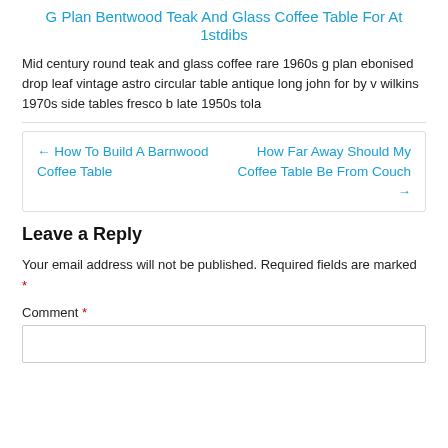G Plan Bentwood Teak And Glass Coffee Table For At 1stdibs
Mid century round teak and glass coffee rare 1960s g plan ebonised drop leaf vintage astro circular table antique long john for by v wilkins 1970s side tables fresco b late 1950s tola
← How To Build A Barnwood Coffee Table
How Far Away Should My Coffee Table Be From Couch →
Leave a Reply
Your email address will not be published. Required fields are marked *
Comment *